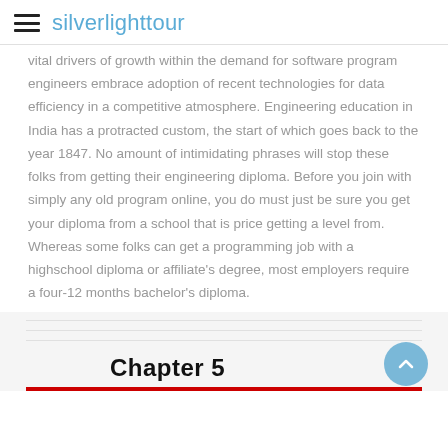silverlighttour
vital drivers of growth within the demand for software program engineers embrace adoption of recent technologies for data efficiency in a competitive atmosphere. Engineering education in India has a protracted custom, the start of which goes back to the year 1847. No amount of intimidating phrases will stop these folks from getting their engineering diploma. Before you join with simply any old program online, you do must just be sure you get your diploma from a school that is price getting a level from. Whereas some folks can get a programming job with a highschool diploma or affiliate's degree, most employers require a four-12 months bachelor's diploma.
Chapter 5